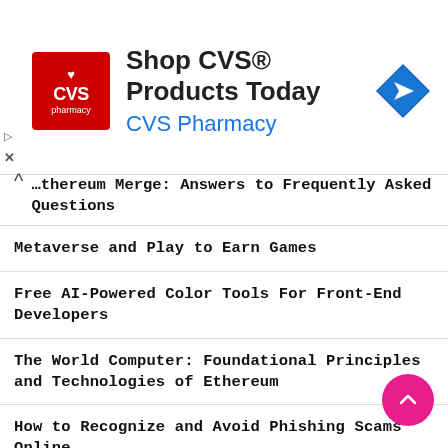[Figure (infographic): CVS Pharmacy advertisement banner. CVS logo on left (red square with heart icon and CVS pharmacy text). Ad text reads 'Shop CVS® Products Today' and 'CVS Pharmacy'. Blue navigation/directions icon on right.]
…Ethereum Merge: Answers to Frequently Asked Questions
Metaverse and Play to Earn Games
Free AI-Powered Color Tools For Front-End Developers
The World Computer: Foundational Principles and Technologies of Ethereum
How to Recognize and Avoid Phishing Scams Online
Effective SEO Strategies and Techniques
4 Ways Decentralized Finance Can Generate Passive Income